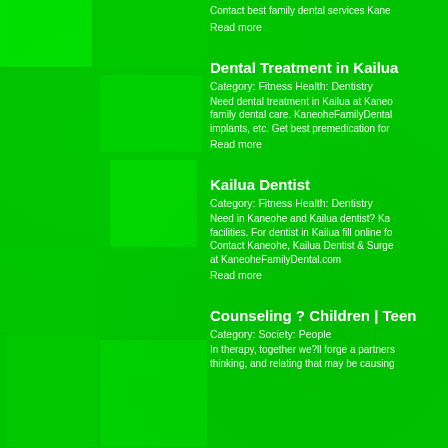Contact best family dental services Kane
Read more
Dental Treatment in Kailua
Category: Fitness Health: Dentistry
Need dental treatment in Kailua at Kaneo family dental care. KaneoheFamilyDental implants, etc. Get best premedication for
Read more
Kailua Dentist
Category: Fitness Health: Dentistry
Need in Kaneohe and Kailua dentist? Ka facilities. For dentist in Kailua fill online fo Contact Kaneohe, Kailua Dentist & Surge at KaneoheFamilyDental.com
Read more
Counseling ? Children | Teen
Category: Society: People
In therapy, together we?ll forge a partners thinking, and relating that may be causing